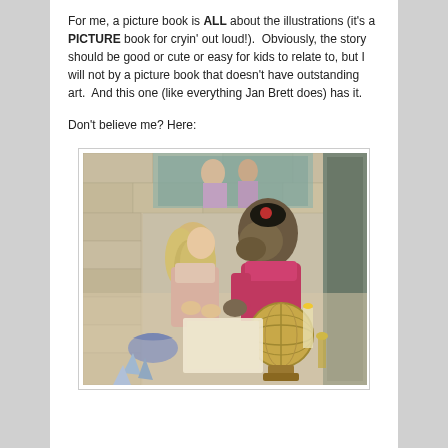For me, a picture book is ALL about the illustrations (it's a PICTURE book for cryin' out loud!).  Obviously, the story should be good or cute or easy for kids to relate to, but I will not by a picture book that doesn't have outstanding art.  And this one (like everything Jan Brett does) has it.
Don't believe me? Here:
[Figure (illustration): A detailed illustration from a Jan Brett picture book showing a girl with long blonde hair bending over a table, alongside a beast-like figure in a pink/red garment. A decorative globe is visible in the foreground, with tapestry and stone wall in the background.]